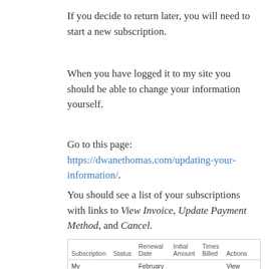If you decide to return later, you will need to start a new subscription.
When you have logged it to my site you should be able to change your information yourself.
Go to this page: https://dwanethomas.com/updating-your-information/.
You should see a list of your subscriptions with links to View Invoice, Update Payment Method, and Cancel.
| Subscription | Status | Renewal Date | Initial Amount | Times Billed | Actions |
| --- | --- | --- | --- | --- | --- |
| My recurring |  | February 15 |  |  | View invoice  Update |